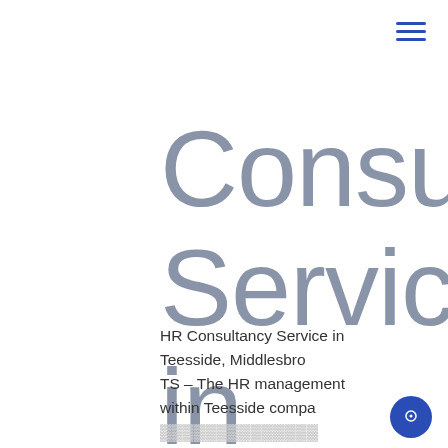[Figure (other): Hamburger menu icon with three horizontal blue lines in top-right corner]
Consultancy Service in Teesside
HR Consultancy Service in Teesside, Middlesbro... TS – The HR management within Teesside company...